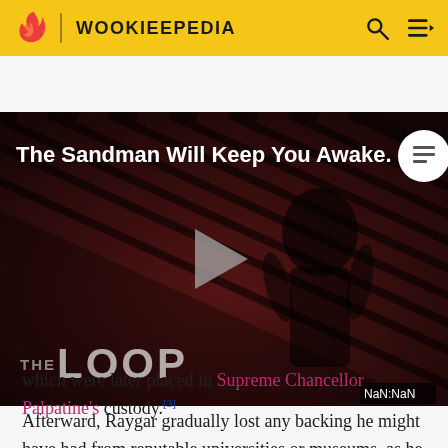WOOKIEEPEDIA
[Figure (screenshot): Wookieepedia video thumbnail showing 'The Sandman Will Keep You Awake.' title over a dark striped background with a figure dressed in black. 'THE LOOP' text visible at bottom. Play button in center. NaN:NaN timestamp in bottom right corner.]
which were later placed in Supreme Chancellor Palpatine's custody.[3]
Afterward, Raygar gradually lost any backing he might have had from reputable universities or museums, as he